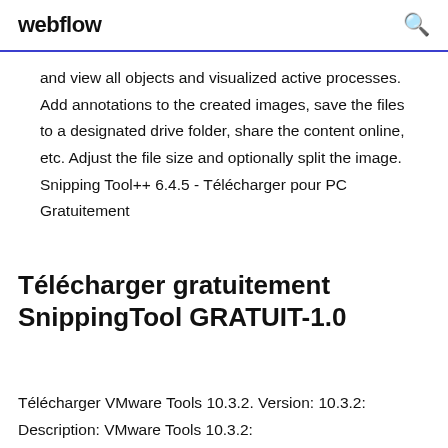webflow
and view all objects and visualized active processes. Add annotations to the created images, save the files to a designated drive folder, share the content online, etc. Adjust the file size and optionally split the image. Snipping Tool++ 6.4.5 - Télécharger pour PC Gratuitement
Télécharger gratuitement SnippingTool GRATUIT-1.0
Télécharger VMware Tools 10.3.2. Version: 10.3.2: Description: VMware Tools 10.3.2: